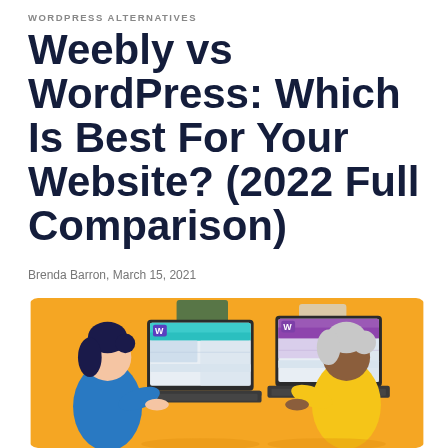WORDPRESS ALTERNATIVES
Weebly vs WordPress: Which Is Best For Your Website? (2022 Full Comparison)
Brenda Barron, March 15, 2021
[Figure (illustration): Two people sitting at laptops: left person with dark hair in blue top using a laptop showing the Weebly interface (teal/blue), right person with gray hair in yellow top using a laptop showing the WordPress interface (purple), both on an orange/yellow background.]